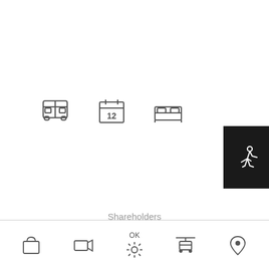[Figure (infographic): Three outline icons: a bus, a calendar showing '12', and a bed/hotel icon]
[Figure (infographic): Black box with white running/walking person icon]
Shareholders
Capital-actions
Commune d'Anniviers
Contact
Legal notices
Newsroom
Sitemap
By continuing to browse this site, you agree to the use of cookies to improve your user experience and to provide website statistics.
> Read the legal notice
BOOK
OK
[Figure (infographic): Bottom navigation bar with icons: shopping bag, video camera, sun/star, cable car gondola, map pin/location]